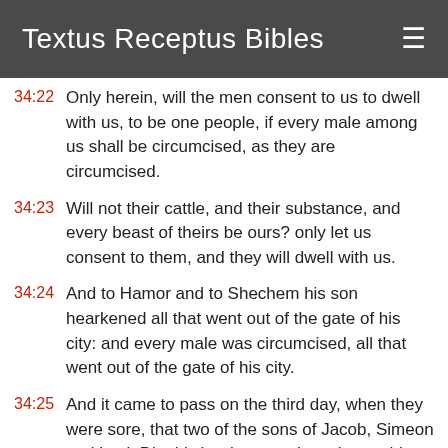Textus Receptus Bibles
34:22 Only herein, will the men consent to us to dwell with us, to be one people, if every male among us shall be circumcised, as they are circumcised.
34:23 Will not their cattle, and their substance, and every beast of theirs be ours? only let us consent to them, and they will dwell with us.
34:24 And to Hamor and to Shechem his son hearkened all that went out of the gate of his city: and every male was circumcised, all that went out of the gate of his city.
34:25 And it came to pass on the third day, when they were sore, that two of the sons of Jacob, Simeon and Levi, Dinah's brethren, took each man his sword, and came upon the city boldly, and slew all the males.